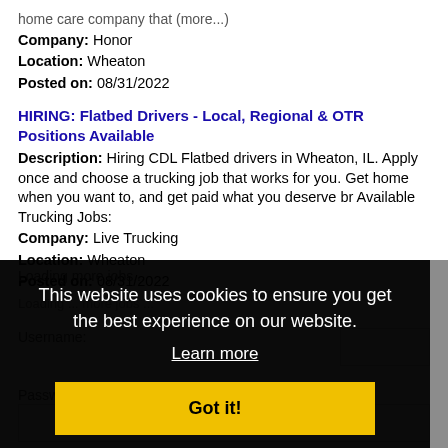home care company that (more...)
Company: Honor
Location: Wheaton
Posted on: 08/31/2022
HIRING: Flatbed Drivers - Local, Regional & OTR Positions Available
Description: Hiring CDL Flatbed drivers in Wheaton, IL. Apply once and choose a trucking job that works for you. Get home when you want to, and get paid what you deserve br Available Trucking Jobs:
Company: Live Trucking
Location: Wheaton
Posted on: 08/31/2022
Loading more jobs...
This website uses cookies to ensure you get the best experience on our website.
Learn more
Got it!
Username:
Password: